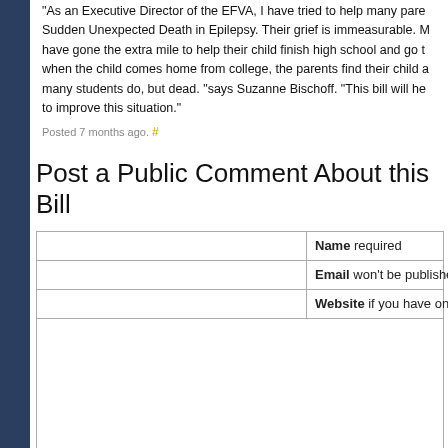"As an Executive Director of the EFVA, I have tried to help many parents who have experienced Sudden Unexpected Death in Epilepsy. Their grief is immeasurable. Many of these parents have gone the extra mile to help their child finish high school and go to college. Then, when the child comes home from college, the parents find their child asleep, not sleeping like many students do, but dead. "says Suzanne Bischoff. "This bill will help the universities to improve this situation."
Posted 7 months ago. #
Post a Public Comment About this Bill
Name required | Email won't be published, required | Website if you have one